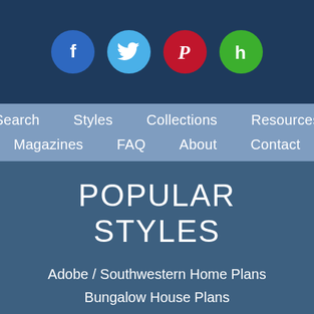[Figure (infographic): Social media icons row: Facebook (blue circle with f), Twitter (light blue circle with bird), Pinterest (red circle with P), Houzz (green circle with h)]
Search  Styles  Collections  Resources  Magazines  FAQ  About  Contact
POPULAR STYLES
Adobe / Southwestern Home Plans
Bungalow House Plans
Classical Home Plans
Colonial Home Plans
Country Home Plans
Craftsman Home Plans
Mediterranean Home Plans
Prairie Home Plans